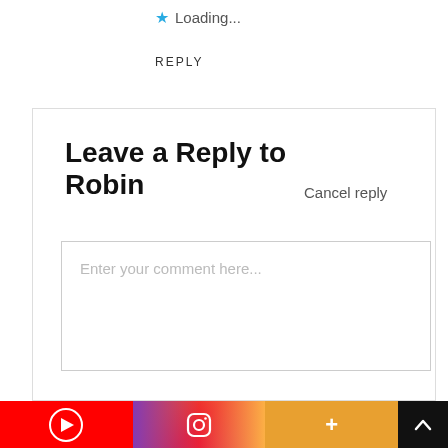Loading...
REPLY
Leave a Reply to Robin
Cancel reply
Enter your comment here...
[Figure (screenshot): Footer navigation bar with YouTube (red), Instagram (gradient), a plus button (orange), and a back-to-top arrow (black)]